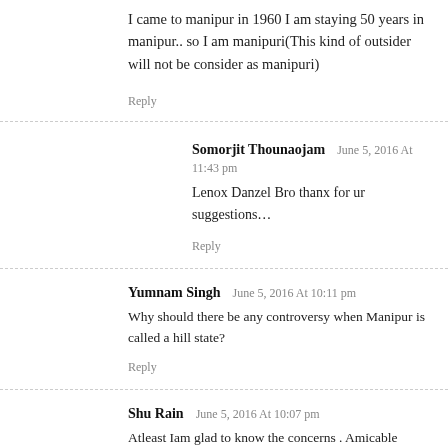I came to manipur in 1960 I am staying 50 years in manipur.. so I am manipuri(This kind of outsider will not be consider as manipuri)
Reply
Somorjit Thounaojam  June 5, 2016 At 11:43 pm
Lenox Danzel Bro thanx for ur suggestions…
Reply
Yumnam Singh  June 5, 2016 At 10:11 pm
Why should there be any controversy when Manipur is called a hill state?
Reply
Shu Rain  June 5, 2016 At 10:07 pm
Atleast Iam glad to know the concerns . Amicable solutions can be brought if those are the ones impending the